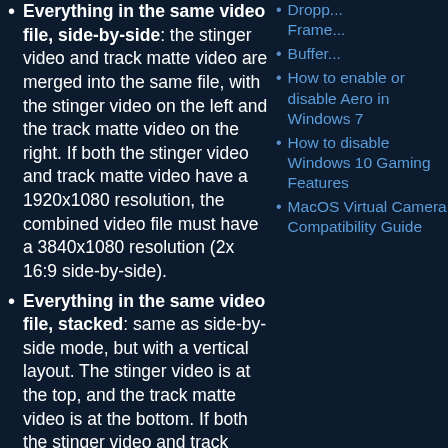Everything in the same video file, side-by-side: the stinger video and track matte video are merged into the same file, with the stinger video on the left and the track matte video on the right. If both the stinger video and track matte video have a 1920x1080 resolution, the combined video file must have a 3840x1080 resolution (2x 16:9 side-by-side).
Everything in the same video file, stacked: same as side-by-side mode, but with a vertical layout. The stinger video is at the top, and the track matte video is at the bottom. If both the stinger video and track matte video have 1920x1080 resolution, the combined video file must have a
Dropped Frames
Buffering
How to enable or disable Aero in Windows 7
How to disable Windows 10 Gaming Features
MacOS Virtual Camera Compatibility Guide